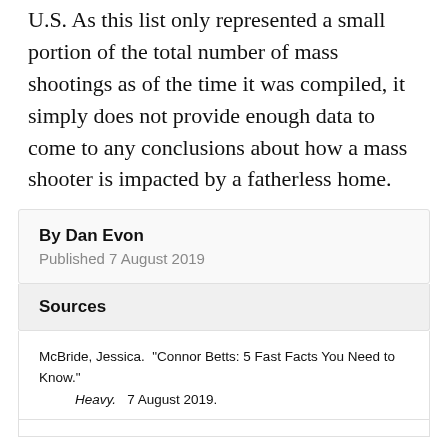U.S. As this list only represented a small portion of the total number of mass shootings as of the time it was compiled, it simply does not provide enough data to come to any conclusions about how a mass shooter is impacted by a fatherless home.
By Dan Evon
Published 7 August 2019
Sources
McBride, Jessica.  “Connor Betts: 5 Fast Facts You Need to Know.”
    Heavy.  7 August 2019.